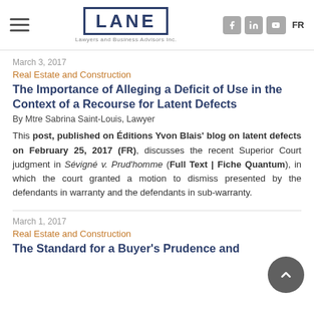LANE Lawyers and Business Advisors Inc.
March 3, 2017
Real Estate and Construction
The Importance of Alleging a Deficit of Use in the Context of a Recourse for Latent Defects
By Mtre Sabrina Saint-Louis, Lawyer
This post, published on Éditions Yvon Blais' blog on latent defects on February 25, 2017 (FR), discusses the recent Superior Court judgment in Sévigné v. Prud'homme (Full Text | Fiche Quantum), in which the court granted a motion to dismiss presented by the defendants in warranty and the defendants in sub-warranty.
March 1, 2017
Real Estate and Construction
The Standard for a Buyer's Prudence and